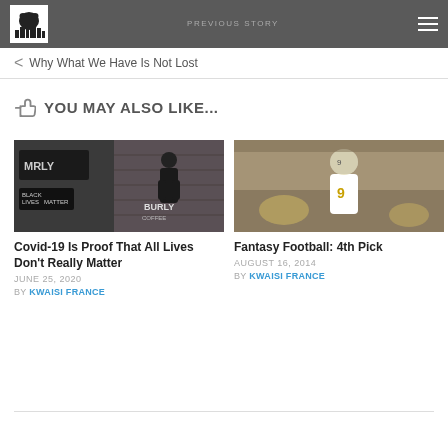PREVIOUS STORY | Why What We Have Is Not Lost
YOU MAY ALSO LIKE...
[Figure (photo): Photo of a person outside a brick building with a 'BURLY' coffee sign and a Black Lives Matter poster]
Covid-19 Is Proof That All Lives Don't Really Matter
JUNE 25, 2020
BY KWAISI FRANCE
[Figure (photo): Photo of a New Orleans Saints football player wearing jersey number 9 at the line of scrimmage]
Fantasy Football: 4th Pick
AUGUST 16, 2014
BY KWAISI FRANCE